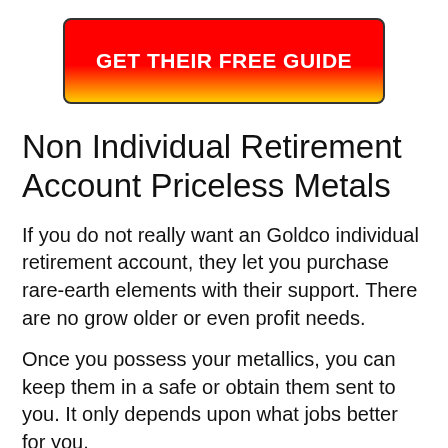[Figure (other): Red and yellow gradient button with white bold text reading GET THEIR FREE GUIDE]
Non Individual Retirement Account Priceless Metals
If you do not really want an Goldco individual retirement account, they let you purchase rare-earth elements with their support. There are no grow older or even profit needs.
Once you possess your metallics, you can keep them in a safe or obtain them sent to you. It only depends upon what jobs better for you.